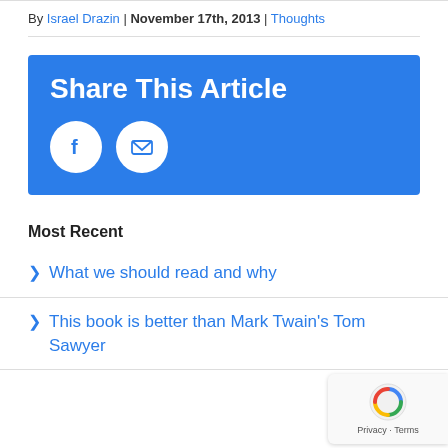By Israel Drazin | November 17th, 2013 | Thoughts
[Figure (infographic): Share This Article box with blue background, Facebook and email share icons]
Most Recent
> What we should read and why
> This book is better than Mark Twain's Tom Sawyer